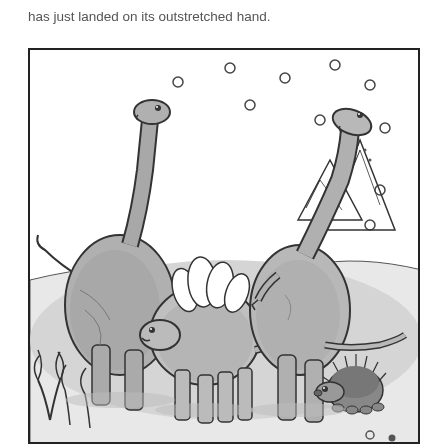has just landed on its outstretched hand.
[Figure (illustration): A black and white cartoon illustration showing three dinosaurs in a prehistoric landscape. On the left is a large long-necked dinosaur (brachiosaurus-type) looking down. In the center is a stegosaurus. On the right is another large long-necked dinosaur looking up at small circular objects falling from the sky (asteroids/meteors). In the background are mountains. In the foreground bottom right is a small hedgehog-like creature. At the bottom there are prehistoric plants. Multiple small circles are scattered in the sky.]